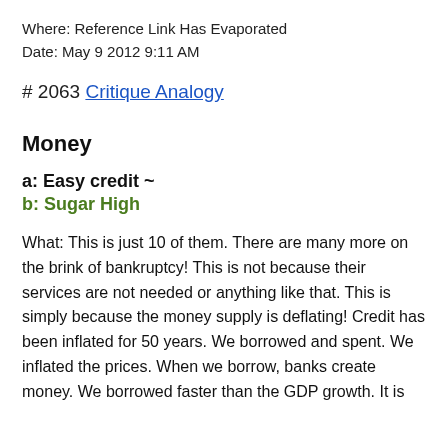Where: Reference Link Has Evaporated
Date: May 9 2012 9:11 AM
# 2063 Critique Analogy
Money
a: Easy credit ~
b: Sugar High
What: This is just 10 of them. There are many more on the brink of bankruptcy! This is not because their services are not needed or anything like that. This is simply because the money supply is deflating! Credit has been inflated for 50 years. We borrowed and spent. We inflated the prices. When we borrow, banks create money. We borrowed faster than the GDP growth. It is